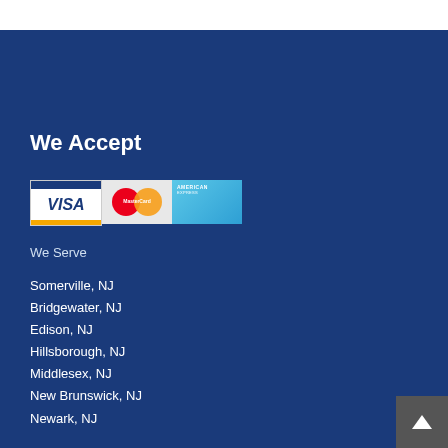We Accept
[Figure (illustration): Payment method logos: Visa, MasterCard, American Express]
We Serve
Somerville, NJ
Bridgewater, NJ
Edison, NJ
Hillsborough, NJ
Middlesex, NJ
New Brunswick, NJ
Newark, NJ